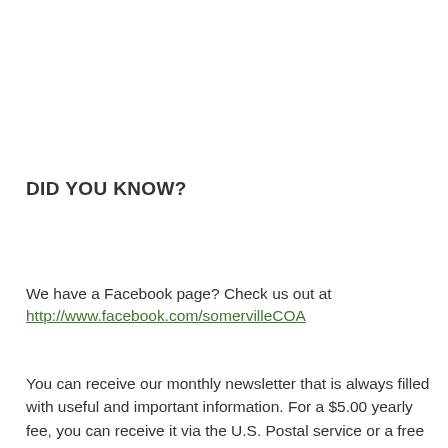DID YOU KNOW?
We have a Facebook page? Check us out at http://www.facebook.com/somervilleCOA
You can receive our monthly newsletter that is always filled with useful and important information. For a $5.00 yearly fee, you can receive it via the U.S. Postal service or a free version